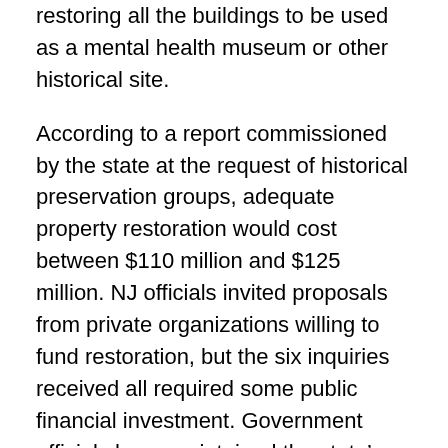restoring all the buildings to be used as a mental health museum or other historical site.
According to a report commissioned by the state at the request of historical preservation groups, adequate property restoration would cost between $110 million and $125 million. NJ officials invited proposals from private organizations willing to fund restoration, but the six inquiries received all required some public financial investment. Government officials have maintained the state's current financial struggles prohibit investing in restoring Greystone.
Instead, the state announced that once the buildings are demolished and the 165-acre site remediated, the property will be converted to public open space managed by Morris County. The property will be in addition to more than 400